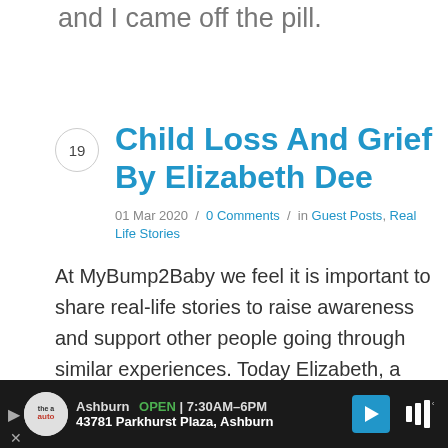and I came off the pill.
Child Loss And Grief By Elizabeth Dee
01 Mar 2020  /  0 Comments  /  in Guest Posts, Real Life Stories
At MyBump2Baby we feel it is important to share real-life stories to raise awareness and support other people going through similar experiences. Today Elizabeth, a
[Figure (screenshot): Advertisement bar at bottom: Ashburn OPEN 7:30AM-6PM, 43781 Parkhurst Plaza, Ashburn with navigation arrow icon and audio icon]